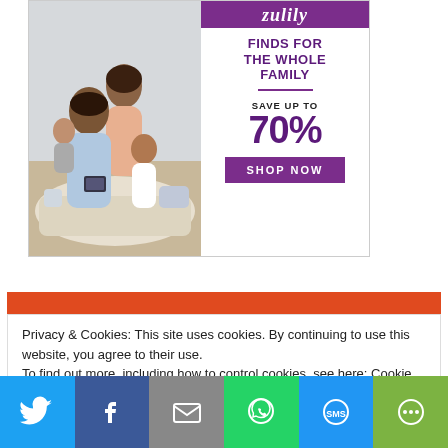[Figure (photo): Zulily advertisement banner. Left side shows a family photo of a man, woman, and children relaxing on a couch. Right side has purple logo 'zulily', tagline 'FINDS FOR THE WHOLE FAMILY', purple divider, 'SAVE UP TO 70%', and 'SHOP NOW' button.]
Privacy & Cookies: This site uses cookies. By continuing to use this website, you agree to their use.
To find out more, including how to control cookies, see here: Cookie Policy
[Figure (infographic): Social sharing bar with icons: Twitter (blue), Facebook (dark blue), Email (grey), WhatsApp (green), SMS (blue), More (green).]